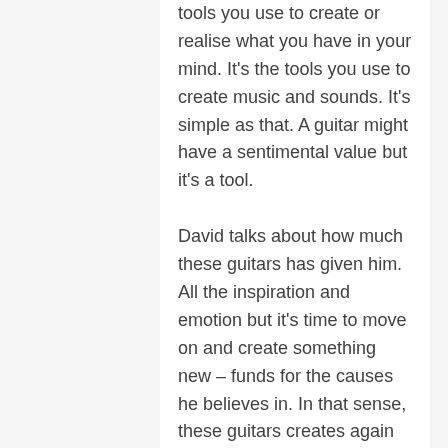tools you use to create or realise what you have in your mind. It's the tools you use to create music and sounds. It's simple as that. A guitar might have a sentimental value but it's a tool.
David talks about how much these guitars has given him. All the inspiration and emotion but it's time to move on and create something new – funds for the causes he believes in. In that sense, these guitars creates again but in a different way than